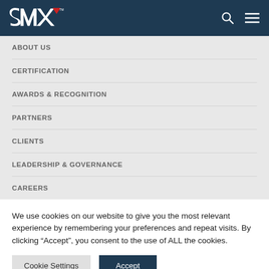[Figure (logo): SMX logo — white stylized S, M, X letters with red accent mark, on dark navy background]
ABOUT US
CERTIFICATION
AWARDS & RECOGNITION
PARTNERS
CLIENTS
LEADERSHIP & GOVERNANCE
CAREERS
We use cookies on our website to give you the most relevant experience by remembering your preferences and repeat visits. By clicking “Accept”, you consent to the use of ALL the cookies.
Cookie Settings | Accept